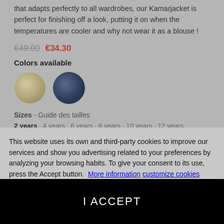that adapts perfectly to all wardrobes, our Kamarjacket is perfect for finishing off a look, putting it on when the temperatures are cooler and why not wear it as a blouse !
€49.00 €34.30
Colors available
[Figure (illustration): Two color swatches: a tan/beige circle and a navy blue circle]
Sizes - Guide des tailles
2 years · 4 years · 6 years · 8 years · 10 years · 12 years
This website uses its own and third-party cookies to improve our services and show you advertising related to your preferences by analyzing your browsing habits. To give your consent to its use, press the Accept button. More information customize cookies
I ACCEPT